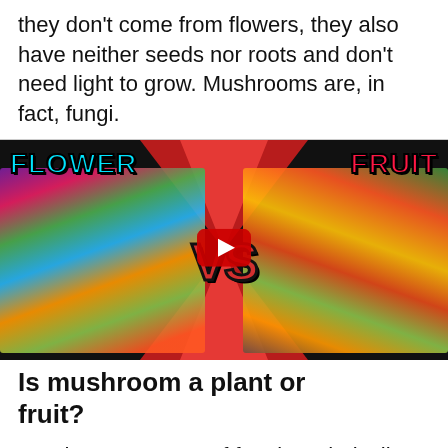they don't come from flowers, they also have neither seeds nor roots and don't need light to grow. Mushrooms are, in fact, fungi.
[Figure (screenshot): YouTube video thumbnail showing 'FLOWER vs FRUIT' with cartoon plant and fruit characters on either side of a red VS logo, with a YouTube play button overlay.]
Is mushroom a plant or fruit?
No, they are a type of fungi. Technically mushrooms aren't plants, so they aren't